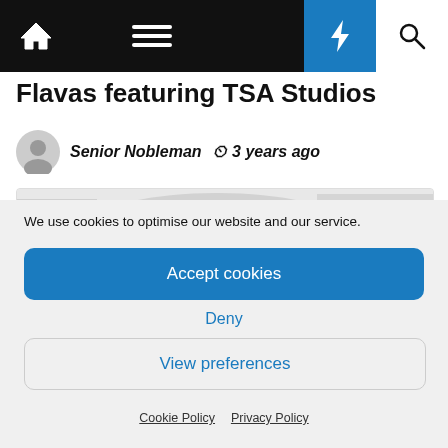[Figure (screenshot): Website navigation bar with home icon, hamburger menu, lightning bolt icon in blue, and search icon]
Flavas featuring TSA Studios
Senior Nobleman  3 years ago
[Figure (photo): Partially visible article thumbnail image in grayscale]
We use cookies to optimise our website and our service.
Accept cookies
Deny
View preferences
Cookie Policy  Privacy Policy